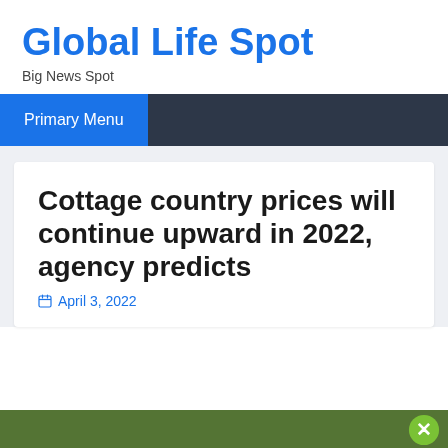Global Life Spot
Big News Spot
Primary Menu
Cottage country prices will continue upward in 2022, agency predicts
April 3, 2022